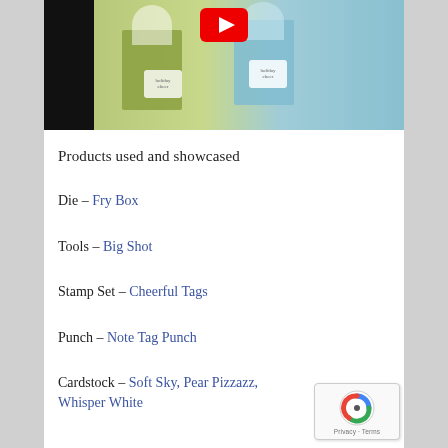[Figure (photo): YouTube video thumbnail showing holiday gift boxes in green and light blue with 'holiday cheer' tags and white ribbon, with YouTube play button overlay on dark background]
Products used and showcased
Die – Fry Box
Tools – Big Shot
Stamp Set – Cheerful Tags
Punch – Note Tag Punch
Cardstock – Soft Sky, Pear Pizzazz, Whisper White